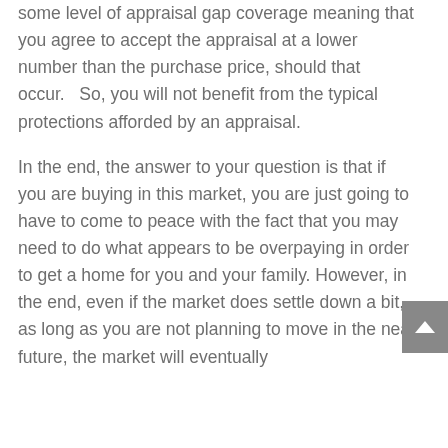some level of appraisal gap coverage meaning that you agree to accept the appraisal at a lower number than the purchase price, should that occur.   So, you will not benefit from the typical protections afforded by an appraisal.
In the end, the answer to your question is that if you are buying in this market, you are just going to have to come to peace with the fact that you may need to do what appears to be overpaying in order to get a home for you and your family. However, in the end, even if the market does settle down a bit, as long as you are not planning to move in the near future, the market will eventually